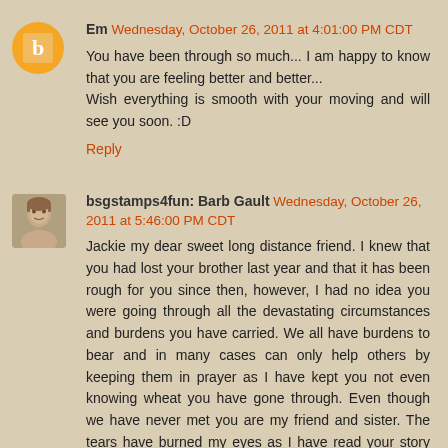Em  Wednesday, October 26, 2011 at 4:01:00 PM CDT
You have been through so much... I am happy to know that you are feeling better and better...
Wish everything is smooth with your moving and will see you soon. :D
Reply
bsgstamps4fun: Barb Gault  Wednesday, October 26, 2011 at 5:46:00 PM CDT
Jackie my dear sweet long distance friend. I knew that you had lost your brother last year and that it has been rough for you since then, however, I had no idea you were going through all the devastating circumstances and burdens you have carried. We all have burdens to bear and in many cases can only help others by keeping them in prayer as I have kept you not even knowing wheat you have gone through. Even though we have never met you are my friend and sister. The tears have burned my eyes as I have read your story and will continue to pray that the Lord will sustain you and your family in your move and new